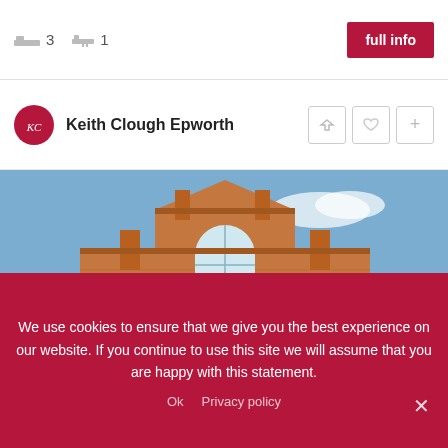3 bedrooms, 1 bathroom
full info
Keith Clough Epworth
[Figure (photo): Victorian red-brick building with arched windows and chimneys under a blue sky, showing a former chapel or public building converted to residential use. Sales and Sold badges overlay the image.]
We use cookies to ensure that we give you the best experience on our website. If you continue to use this site we will assume that you are happy with this statement.
Ok   Privacy policy